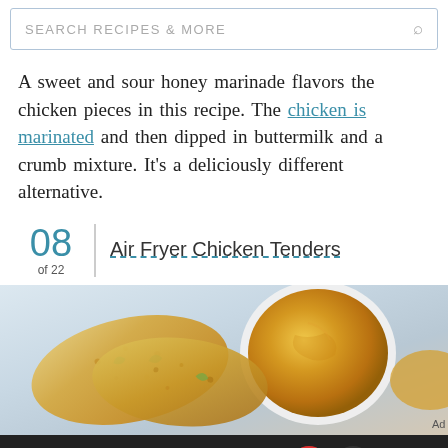SEARCH RECIPES & MORE
A sweet and sour honey marinade flavors the chicken pieces in this recipe. The chicken is marinated and then dipped in buttermilk and a crumb mixture. It's a deliciously different alternative.
08 of 22 | Air Fryer Chicken Tenders
[Figure (photo): Air fryer chicken tenders with breaded coating served alongside a bowl of dipping sauce, photographed from above on a white background.]
We help people find answers, solve problems and get inspired. Dotdash meredith